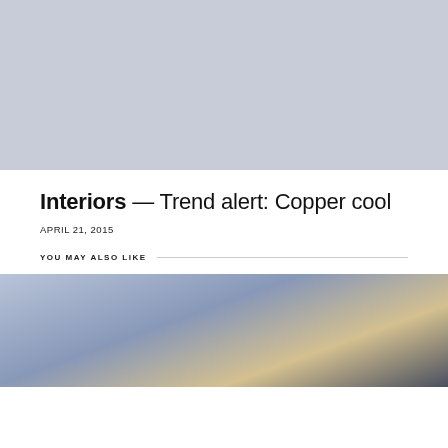[Figure (photo): Large placeholder/image area with light blue-grey background color at the top of the page]
Interiors — Trend alert: Copper cool
APRIL 21, 2015
YOU MAY ALSO LIKE
[Figure (photo): Partial photo of a modern building exterior at dusk/twilight, showing architectural roofline and tree branches against a blue sky]